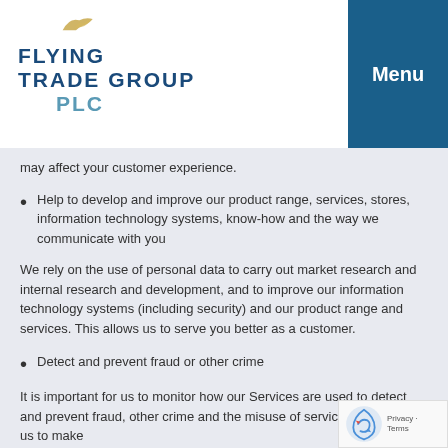Flying Trade Group PLC | Menu
may affect your customer experience.
Help to develop and improve our product range, services, stores, information technology systems, know-how and the way we communicate with you
We rely on the use of personal data to carry out market research and internal research and development, and to improve our information technology systems (including security) and our product range and services. This allows us to serve you better as a customer.
Detect and prevent fraud or other crime
It is important for us to monitor how our Services are used to detect and prevent fraud, other crime and the misuse of services. This helps us to make